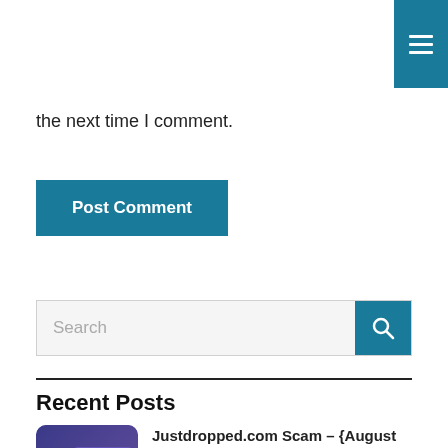≡ (hamburger menu icon)
the next time I comment.
Post Comment
Search
Recent Posts
[Figure (photo): Thumbnail image for Justdropped.com Scam review post, showing JD logo and 'Sca... Review' text]
Justdropped.com Scam – {August 2022} in Detail !
August 31, 2022